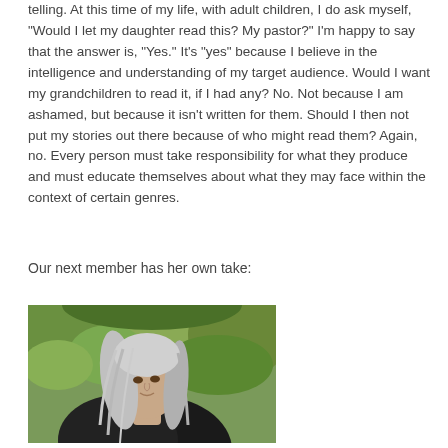telling. At this time of my life, with adult children, I do ask myself, "Would I let my daughter read this? My pastor?" I'm happy to say that the answer is, "Yes." It's "yes" because I believe in the intelligence and understanding of my target audience. Would I want my grandchildren to read it, if I had any? No. Not because I am ashamed, but because it isn't written for them. Should I then not put my stories out there because of who might read them? Again, no. Every person must take responsibility for what they produce and must educate themselves about what they may face within the context of certain genres.
Our next member has her own take:
[Figure (photo): A woman with long gray and white hair, facing slightly to the right, wearing a dark top, with green foliage in the background.]